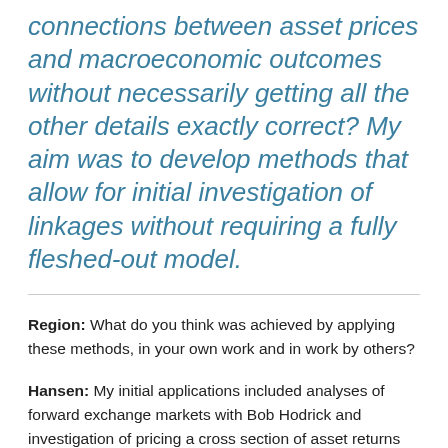connections between asset prices and macroeconomic outcomes without necessarily getting all the other details exactly correct? My aim was to develop methods that allow for initial investigation of linkages without requiring a fully fleshed-out model.
Region: What do you think was achieved by applying these methods, in your own work and in work by others?
Hansen: My initial applications included analyses of forward exchange markets with Bob Hodrick and investigation of pricing a cross section of asset returns with Ken Singleton. The Hodrick paper documented